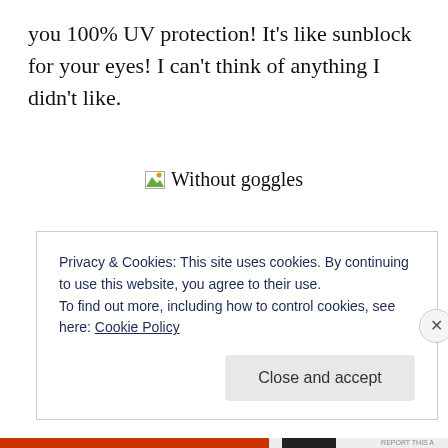you 100% UV protection! It's like sunblock for your eyes! I can't think of anything I didn't like.
[Figure (photo): Broken image placeholder labeled 'Without goggles']
Privacy & Cookies: This site uses cookies. By continuing to use this website, you agree to their use.
To find out more, including how to control cookies, see here: Cookie Policy
Close and accept